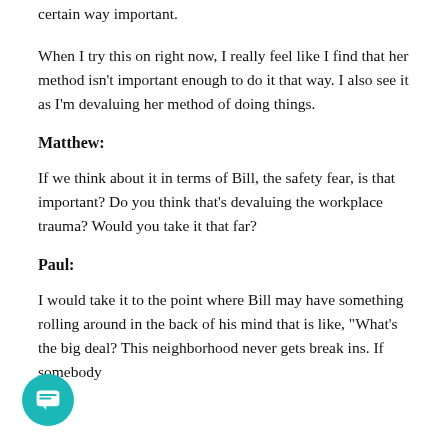certain way important.
When I try this on right now, I really feel like I find that her method isn't important enough to do it that way. I also see it as I'm devaluing her method of doing things.
Matthew:
If we think about it in terms of Bill, the safety fear, is that important? Do you think that's devaluing the workplace trauma? Would you take it that far?
Paul:
I would take it to the point where Bill may have something rolling around in the back of his mind that is like, "What's the big deal? This neighborhood never gets break ins. If somebody